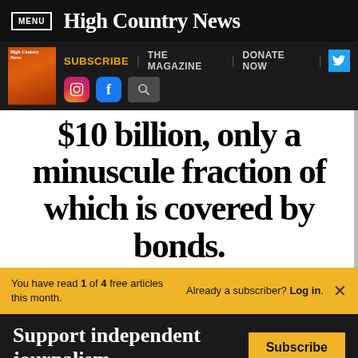MENU | High Country News
SUBSCRIBE | THE MAGAZINE | DONATE NOW
$10 billion, only a minuscule fraction of which is covered by bonds.
You have read 1 of 4 free articles this month. Already a subscriber? Log in.
Support independent journalism. Subscribe